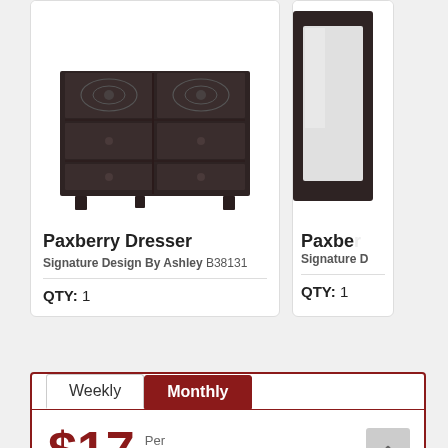[Figure (photo): Dark brown Paxberry Dresser with 6 drawers, ornate carved top drawers, product photo on white background]
Paxberry Dresser
Signature Design By Ashley B38131
QTY: 1
[Figure (photo): Partially visible Paxberry product (mirror/headboard) on white background, cropped on right edge]
Paxbe...
Signature D...
QTY: 1
Weekly   Monthly
$17  Per Week